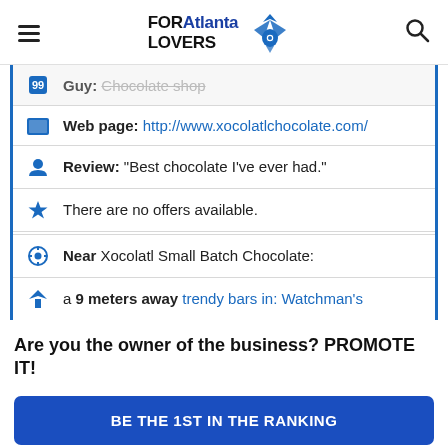FORAtlanta LOVERS
Guy: Chocolate shop
Web page: http://www.xocolatlchocolate.com/
Review: "Best chocolate I've ever had."
There are no offers available.
Near Xocolatl Small Batch Chocolate:
a 9 meters away trendy bars in: Watchman's
Are you the owner of the business? PROMOTE IT!
BE THE 1ST IN THE RANKING
EXCLUSIVE PAGE